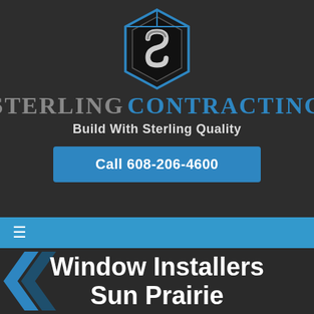[Figure (logo): Sterling Contracting logo: hexagon/house shape with stylized S letter in blue and grey]
Sterling Contracting
Build With Sterling Quality
Call 608-206-4600
≡
Window Installers Sun Prairie